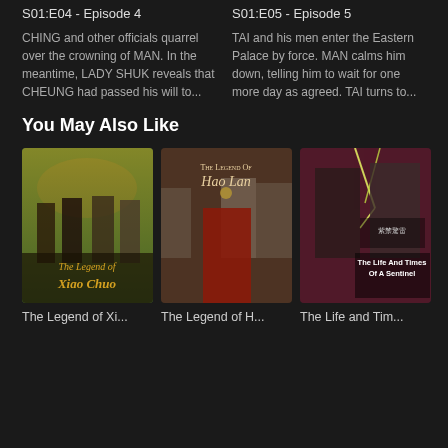S01:E04 - Episode 4
CHING and other officials quarrel over the crowning of MAN. In the meantime, LADY SHUK reveals that CHEUNG had passed his will to...
S01:E05 - Episode 5
TAI and his men enter the Eastern Palace by force. MAN calms him down, telling him to wait for one more day as agreed. TAI turns to...
You May Also Like
[Figure (photo): Movie poster for The Legend of Xiao Chuo featuring archers in medieval Chinese costume against a green and gold background]
[Figure (photo): Movie poster for The Legend of Hao Lan featuring a woman in traditional Korean/Chinese court dress with title text overlay]
[Figure (photo): Movie poster for The Life and Times of A Sentinel featuring two men with lightning backdrop and Chinese characters]
The Legend of Xi...
The Legend of H...
The Life and Tim...